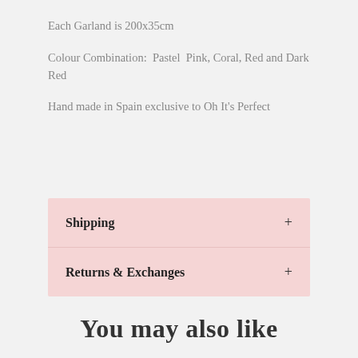Each Garland is 200x35cm
Colour Combination:  Pastel  Pink, Coral, Red and Dark Red
Hand made in Spain exclusive to Oh It's Perfect
Shipping +
Returns & Exchanges +
You may also like